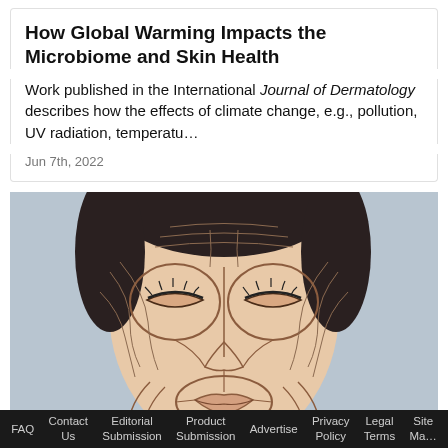How Global Warming Impacts the Microbiome and Skin Health
Work published in the International Journal of Dermatology describes how the effects of climate change, e.g., pollution, UV radiation, temperatu…
Jun 7th, 2022
[Figure (illustration): Medical illustration of a woman's face showing facial muscle anatomy overlaid on a portrait with closed eyes, rendered in pencil-sketch style on a grey-blue background.]
FAQ   Contact Us   Editorial Submission   Product Submission   Advertise   Privacy Policy   Legal Terms   Site Ma…